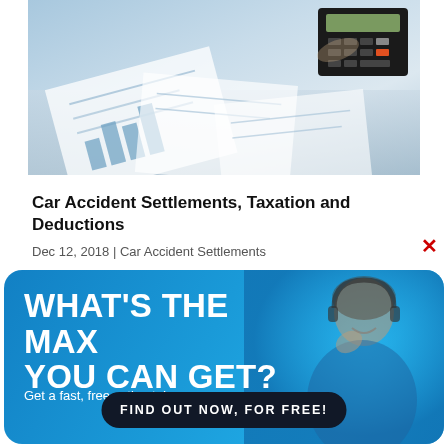[Figure (photo): Photo of a desk with papers, charts, and a calculator — office/financial documents scene]
Car Accident Settlements, Taxation and Deductions
Dec 12, 2018 | Car Accident Settlements
[Figure (infographic): Blue advertisement banner with woman on headset. Headline: WHAT'S THE MAX YOU CAN GET? Subtext: Get a fast, free estimate! Button: FIND OUT NOW, FOR FREE!]